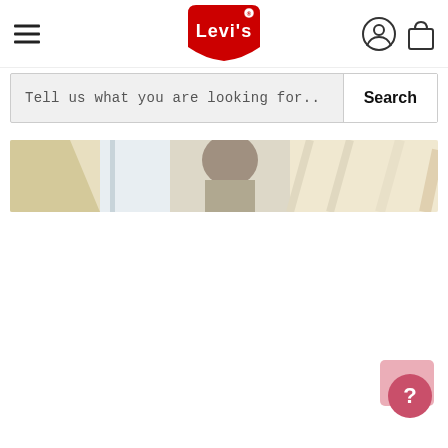[Figure (logo): Levi's red tab logo with white text and registered trademark symbol]
Tell us what you are looking for..
Search
[Figure (photo): Partial banner image showing a person in a light-colored outfit, cropped horizontally]
[Figure (illustration): Pink chat/help bubble icon in bottom right corner]